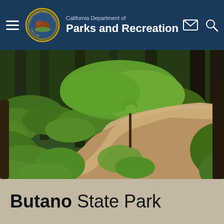California Department of Parks and Recreation
[Figure (photo): A winding dirt trail through a lush redwood forest with ferns and tall trees, photographed from above at Butano State Park.]
Butano State Park